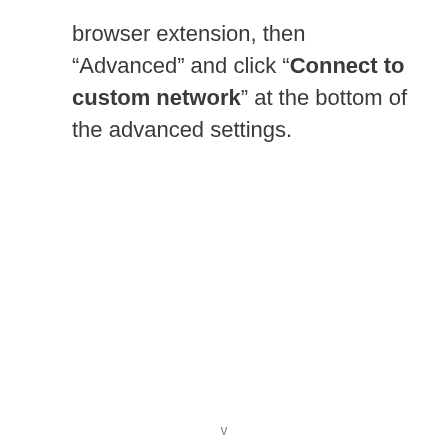browser extension, then “Advanced” and click “Connect to custom network” at the bottom of the advanced settings.
v